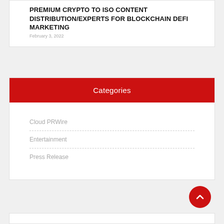PREMIUM CRYPTO TO ISO CONTENT DISTRIBUTION/EXPERTS FOR BLOCKCHAIN DEFI MARKETING
Categories
Cloud PRWire
Entertainment
Press Release